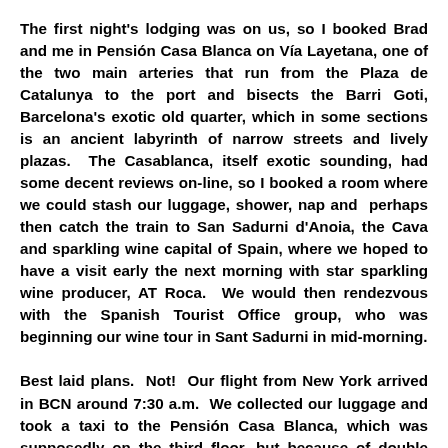The first night's lodging was on us, so I booked Brad and me in Pensión Casa Blanca on Vía Layetana, one of the two main arteries that run from the Plaza de Catalunya to the port and bisects the Barri Goti, Barcelona's exotic old quarter, which in some sections is an ancient labyrinth of narrow streets and lively plazas.  The Casablanca, itself exotic sounding, had some decent reviews on-line, so I booked a room where we could stash our luggage, shower, nap and  perhaps then catch the train to San Sadurni d'Anoia, the Cava and sparkling wine capital of Spain, where we hoped to have a visit early the next morning with star sparkling wine producer, AT Roca.  We would then rendezvous with the Spanish Tourist Office group, who was beginning our wine tour in Sant Sadurni in mid-morning.
Best laid plans.  Not!  Our flight from New York arrived in BCN around 7:30 a.m.  We collected our luggage and took a taxi to the Pensión Casa Blanca, which was supposedly on the third floor, but because of double floors, it was actually on the Sixth Floor.  We were